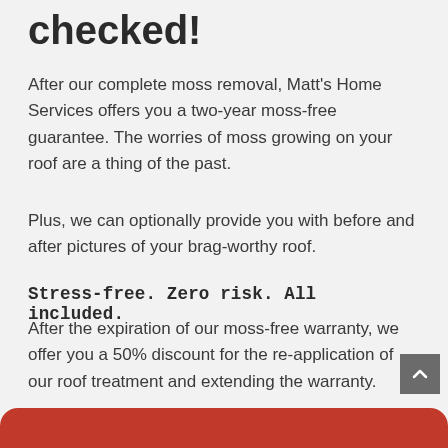checked!
After our complete moss removal, Matt's Home Services offers you a two-year moss-free guarantee. The worries of moss growing on your roof are a thing of the past.
Plus, we can optionally provide you with before and after pictures of your brag-worthy roof.
Stress-free. Zero risk. All included.
After the expiration of our moss-free warranty, we offer you a 50% discount for the re-application of our roof treatment and extending the warranty.